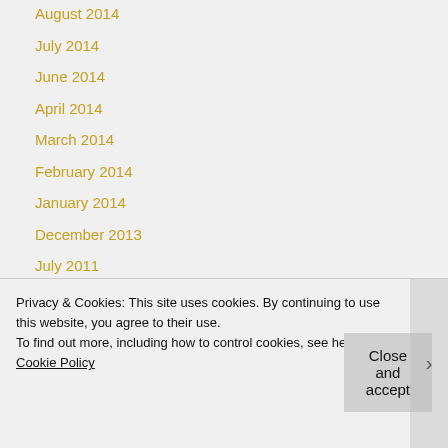August 2014
July 2014
June 2014
April 2014
March 2014
February 2014
January 2014
December 2013
July 2011
June 2011
April 2011
Privacy & Cookies: This site uses cookies. By continuing to use this website, you agree to their use.
To find out more, including how to control cookies, see here: Cookie Policy
Close and accept